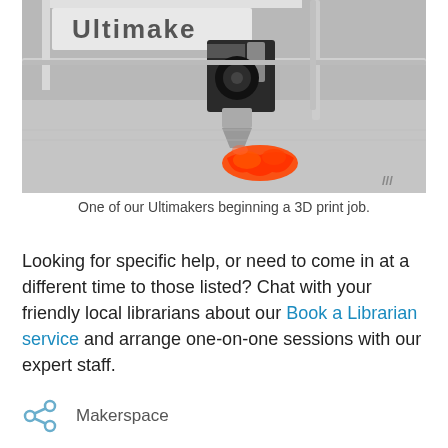[Figure (photo): Close-up photograph of an Ultimaker 3D printer with a black print head extruding red filament onto a grey build platform, forming a small red shape.]
One of our Ultimakers beginning a 3D print job.
Looking for specific help, or need to come in at a different time to those listed? Chat with your friendly local librarians about our Book a Librarian service and arrange one-on-one sessions with our expert staff.
Makerspace